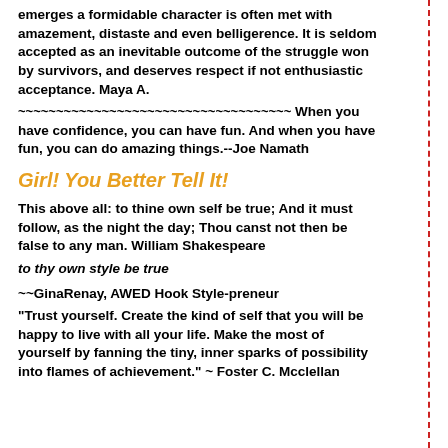emerges a formidable character is often met with amazement, distaste and even belligerence. It is seldom accepted as an inevitable outcome of the struggle won by survivors, and deserves respect if not enthusiastic acceptance. Maya A.
~~~~~~~~~~~~~~~~~~~~~~~~~~~~~~~~~~~~ When you have confidence, you can have fun. And when you have fun, you can do amazing things.--Joe Namath
Girl! You Better Tell It!
This above all: to thine own self be true; And it must follow, as the night the day; Thou canst not then be false to any man. William Shakespeare
to thy own style be true
~~GinaRenay, AWED Hook Style-preneur
"Trust yourself. Create the kind of self that you will be happy to live with all your life. Make the most of yourself by fanning the tiny, inner sparks of possibility into flames of achievement." ~ Foster C. Mcclellan